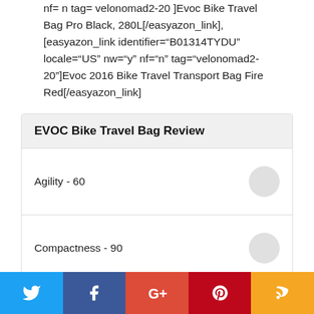nf= n  tag= velonomad2-20 ]Evoc Bike Travel Bag Pro Black, 280L[/easyazon_link], [easyazon_link identifier="B01314TYDU" locale="US" nw="y" nf="n" tag="velonomad2-20"]Evoc 2016 Bike Travel Transport Bag Fire Red[/easyazon_link]
| Metric | Score | Indicator |
| --- | --- | --- |
| Agility - 60 |  | circle |
| Compactness - 90 |  | circle |
| Weight - 60 |  | circle |